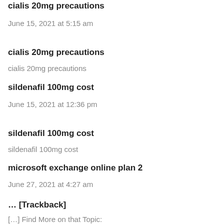cialis 20mg precautions
June 15, 2021 at 5:15 am
cialis 20mg precautions
cialis 20mg precautions
sildenafil 100mg cost
June 15, 2021 at 12:36 pm
sildenafil 100mg cost
sildenafil 100mg cost
microsoft exchange online plan 2
June 27, 2021 at 4:27 am
… [Trackback]
[…] Find More on that Topic:
ericstinton.com/2016/11/29/the-champion-of-